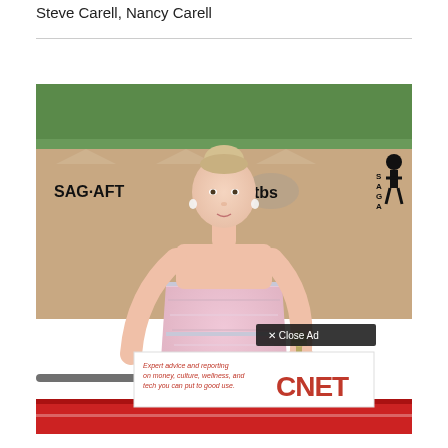Steve Carell, Nancy Carell
[Figure (photo): A young blonde woman in a pink sequined strapless dress posing on the SAG Awards red carpet. Behind her is the SAG-AFTRA banner with tbs and SAG Award statue logo visible. There is a CNET advertisement overlay at the bottom of the image with a 'Close Ad' button.]
Expert advice and reporting on money, culture, wellness, and tech you can put to good use. CNET